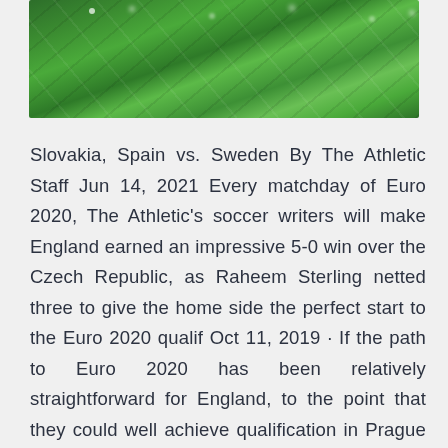[Figure (photo): Close-up photo of large green tropical leaves with water droplets, viewed from above. The leaves are bright green with visible veins and rain/dew drops on the surface.]
Slovakia, Spain vs. Sweden By The Athletic Staff Jun 14, 2021 Every matchday of Euro 2020, The Athletic's soccer writers will make England earned an impressive 5-0 win over the Czech Republic, as Raheem Sterling netted three to give the home side the perfect start to the Euro 2020 qualif Oct 11, 2019 · If the path to Euro 2020 has been relatively straightforward for England, to the point that they could well achieve qualification in Prague against Czech Republic on Friday with two games to spare Oct 11, 2019 · England could confirm their place at Euro 2020 next summer if they beat Czech Republic on Friday evening. The Three Lions